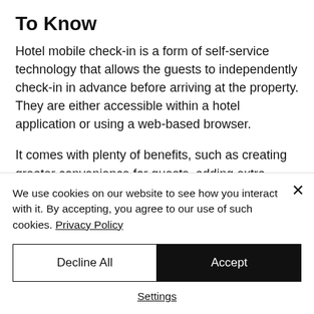To Know
Hotel mobile check-in is a form of self-service technology that allows the guests to independently check-in in advance before arriving at the property. They are either accessible within a hotel application or using a web-based browser.
It comes with plenty of benefits, such as creating greater convenience for guests, adding extra revenue and decreasing your hotel operational costs. But there are...
We use cookies on our website to see how you interact with it. By accepting, you agree to our use of such cookies. Privacy Policy
Decline All
Accept
Settings